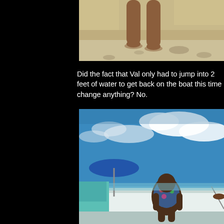[Figure (photo): Cropped photo of a person's legs standing on sandy beach, viewed from below the waist. Sandy, rocky beach ground visible.]
Did the fact that Val only had to jump into 2 feet of water to get back on the boat this time change anything? No.
[Figure (photo): Photo of a woman in a floral swimsuit sitting on the edge of a boat. Blue sky with white clouds in the background. A blue umbrella is visible on the left side, and there is a teal/green structure.]